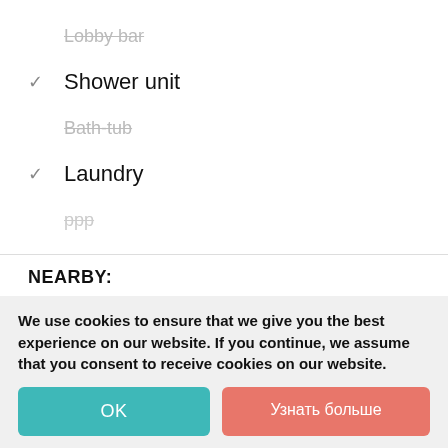Lobby bar (strikethrough)
✓ Shower unit
Bath-tub (strikethrough)
✓ Laundry
ррр (faded strikethrough)
NEARBY:
Beach: 500 м
Restaurant
City center: 700 м
Bu...
Airport: 25 км
We use cookies to ensure that we give you the best experience on our website. If you continue, we assume that you consent to receive cookies on our website.
OK
Узнать больше